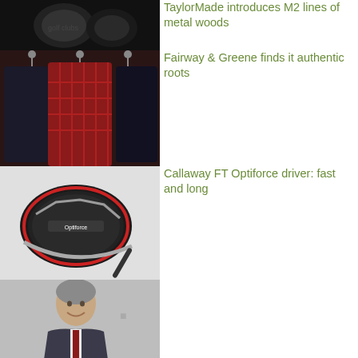[Figure (photo): Dark image of TaylorMade golf club heads]
TaylorMade introduces M2 lines of metal woods
[Figure (photo): Three mannequins wearing golf apparel including a red plaid vest, displayed in a dark showroom setting]
Fairway & Greene finds it authentic roots
[Figure (photo): Callaway FT Optiforce driver golf club head, black and red, on light gray background]
Callaway FT Optiforce driver: fast and long
[Figure (photo): Portrait of a middle-aged man in a suit, smiling, with a partial logo visible in the background]